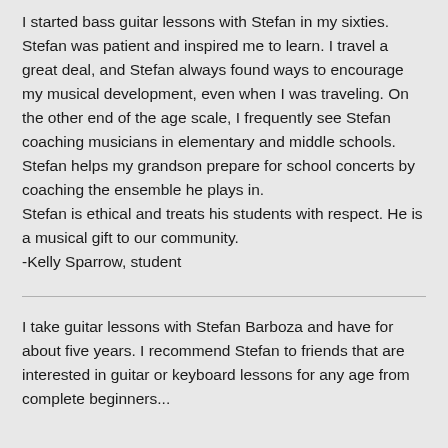I started bass guitar lessons with Stefan in my sixties. Stefan was patient and inspired me to learn. I travel a great deal, and Stefan always found ways to encourage my musical development, even when I was traveling. On the other end of the age scale, I frequently see Stefan coaching musicians in elementary and middle schools.  Stefan helps my grandson prepare for school concerts by coaching the ensemble he plays in.
Stefan is ethical and treats his students with respect. He is a musical gift to our community.
-Kelly Sparrow, student
I take guitar lessons with Stefan Barboza and have for about five years. I recommend Stefan to friends that are interested in guitar or keyboard lessons for any age from complete beginners...